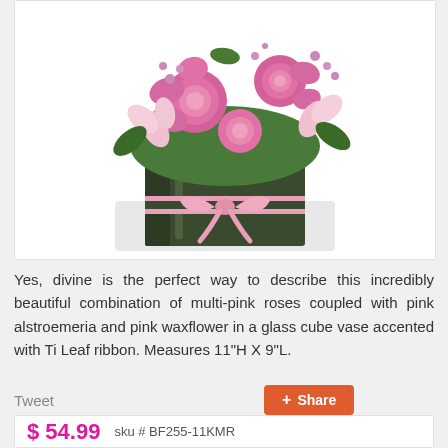[Figure (photo): A floral arrangement of multi-pink roses, pink alstroemeria, and pink waxflower in a dark green glass cube vase accented with a pink Ti Leaf ribbon bow.]
Yes, divine is the perfect way to describe this incredibly beautiful combination of multi-pink roses coupled with pink alstroemeria and pink waxflower in a glass cube vase accented with Ti Leaf ribbon. Measures 11"H X 9"L.
Tweet
Share
$ 54.99  sku # BF255-11KMR